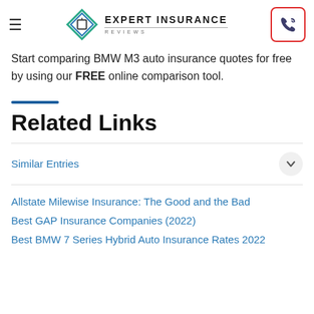Expert Insurance Reviews
Start comparing BMW M3 auto insurance quotes for free by using our FREE online comparison tool.
Related Links
Similar Entries
Allstate Milewise Insurance: The Good and the Bad
Best GAP Insurance Companies (2022)
Best BMW 7 Series Hybrid Auto Insurance Rates 2022